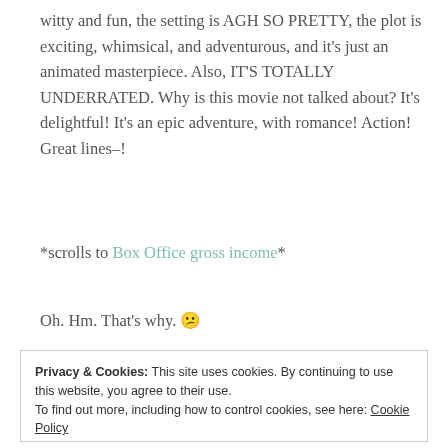witty and fun, the setting is AGH SO PRETTY, the plot is exciting, whimsical, and adventurous, and it's just an animated masterpiece. Also, IT'S TOTALLY UNDERRATED. Why is this movie not talked about? It's delightful! It's an epic adventure, with romance! Action! Great lines–!
*scrolls to Box Office gross income*
Oh. Hm. That's why. 😕
Alright, those are my favorite sci-fi movies!
Privacy & Cookies: This site uses cookies. By continuing to use this website, you agree to their use.
To find out more, including how to control cookies, see here: Cookie Policy
Close and accept